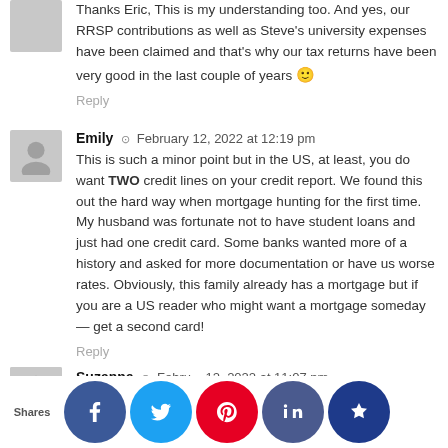Thanks Eric, This is my understanding too. And yes, our RRSP contributions as well as Steve's university expenses have been claimed and that's why our tax returns have been very good in the last couple of years 🙂
Reply
Emily ⊙ February 12, 2022 at 12:19 pm
This is such a minor point but in the US, at least, you do want TWO credit lines on your credit report. We found this out the hard way when mortgage hunting for the first time. My husband was fortunate not to have student loans and just had one credit card. Some banks wanted more of a history and asked for more documentation or have us worse rates. Obviously, this family already has a mortgage but if you are a US reader who might want a mortgage someday — get a second card!
Reply
Suzanne ⊙ February 12, 2022 at 11:07 pm
W...ed ra...age (y... are s...mmon the... would re...mmend not...paying you...ortgage. A...